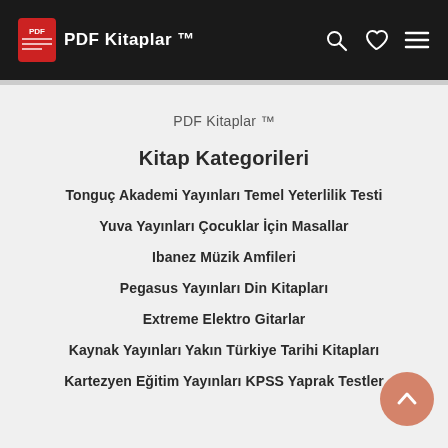PDF Kitaplar ™
PDF Kitaplar ™
Kitap Kategorileri
Tonguç Akademi Yayınları Temel Yeterlilik Testi
Yuva Yayınları Çocuklar İçin Masallar
Ibanez Müzik Amfileri
Pegasus Yayınları Din Kitapları
Extreme Elektro Gitarlar
Kaynak Yayınları Yakın Türkiye Tarihi Kitapları
Kartezyen Eğitim Yayınları KPSS Yaprak Testler